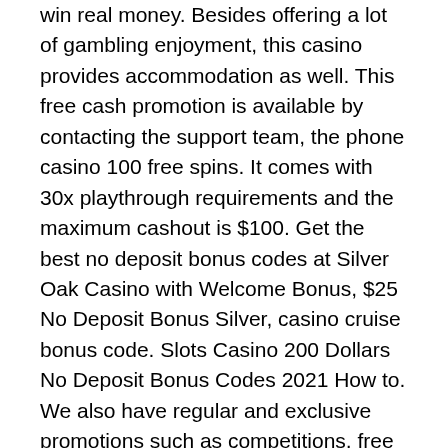win real money. Besides offering a lot of gambling enjoyment, this casino provides accommodation as well. This free cash promotion is available by contacting the support team, the phone casino 100 free spins. It comes with 30x playthrough requirements and the maximum cashout is $100. Get the best no deposit bonus codes at Silver Oak Casino with Welcome Bonus, $25 No Deposit Bonus Silver, casino cruise bonus code. Slots Casino 200 Dollars No Deposit Bonus Codes 2021 How to. We also have regular and exclusive promotions such as competitions, free credit, and special welcome bonuses and other offers for online casinos, modded casino games apk. Sports betting, bingo and poker. GunsBet is a fun-gaming platform with great bonuses and free spins without unreasonable terms and conditions, playing blackjack at a casino reddit. Deposit into your account, and start getting rewarded. Mobile gaming has